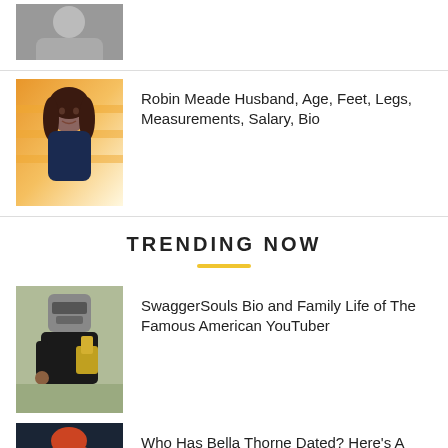[Figure (photo): Partial cropped photo at top (person, midriff)]
[Figure (photo): Robin Meade photo with orange striped background]
Robin Meade Husband, Age, Feet, Legs, Measurements, Salary, Bio
TRENDING NOW
[Figure (photo): SwaggerSouls person in medieval helmet holding YouTube award]
SwaggerSouls Bio and Family Life of The Famous American YouTuber
[Figure (photo): Bella Thorne at event with In and e signage behind]
Who Has Bella Thorne Dated? Here's A Guide To All The...
[Figure (photo): Sean Stephenson bald man with blue background]
Who Is Sean Stephenson, His Wife (Mindie Kniss), Family, Bio